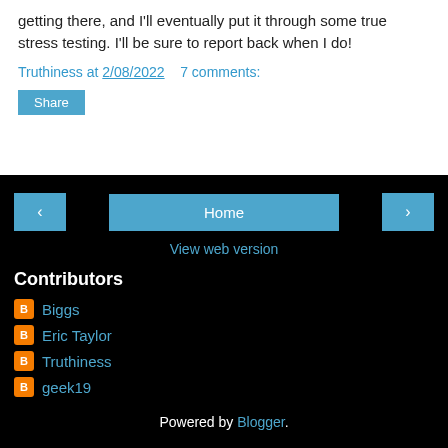getting there, and I'll eventually put it through some true stress testing. I'll be sure to report back when I do!
Truthiness at 2/08/2022   7 comments:
Share
Contributors
Biggs
Eric Taylor
Truthiness
geek19
Powered by Blogger.